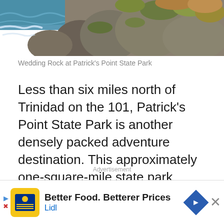[Figure (photo): Coastal scene showing rocky cliffs with green and orange vegetation above ocean waves at Wedding Rock, Patrick's Point State Park]
Wedding Rock at Patrick's Point State Park
Less than six miles north of Trinidad on the 101, Patrick's Point State Park is another densely packed adventure destination. This approximately one-square-mile state park encompasses a forested headland jutting into the ocean.
Advertisement
[Figure (other): Lidl advertisement banner: Better Food. Betterer Prices - Lidl]